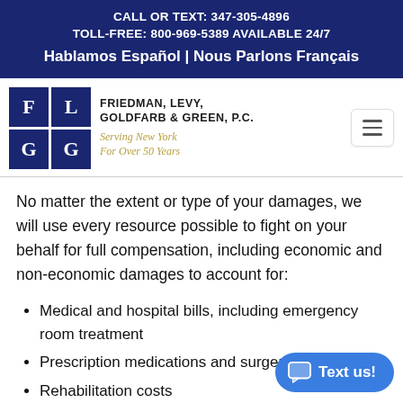CALL OR TEXT: 347-305-4896
TOLL-FREE: 800-969-5389 AVAILABLE 24/7
Hablamos Español | Nous Parlons Français
[Figure (logo): Friedman, Levy, Goldfarb & Green, P.C. law firm logo with F L G G letters in navy blue squares, tagline: Serving New York For Over 50 Years]
No matter the extent or type of your damages, we will use every resource possible to fight on your behalf for full compensation, including economic and non-economic damages to account for:
Medical and hospital bills, including emergency room treatment
Prescription medications and surgeries
Rehabilitation costs
Permanent or temporary disability
Lost wages and earning capacity